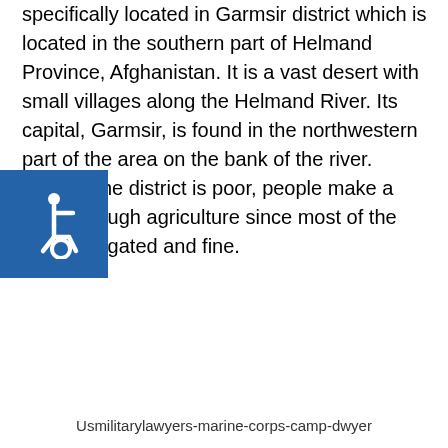specifically located in Garmsir district which is located in the southern part of Helmand Province, Afghanistan. It is a vast desert with small villages along the Helmand River. Its capital, Garmsir, is found in the northwestern part of the area on the bank of the river. Though the district is poor, people make a living through agriculture since most of the land is irrigated and fine.
[Figure (logo): Blue square accessibility icon with white wheelchair symbol]
Usmilitarylawyers-marine-corps-camp-dwyer